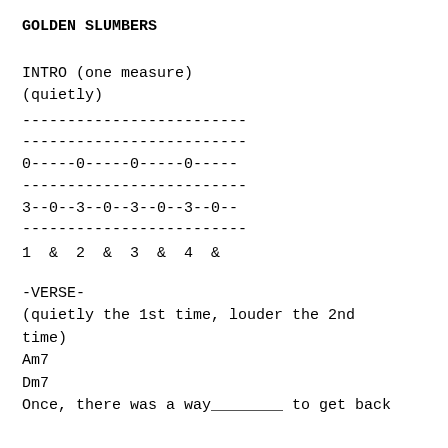GOLDEN SLUMBERS
INTRO (one measure)
(quietly)
-------------------------
-------------------------
0-----0-----0-----0-----
-------------------------
3--0--3--0--3--0--3--0--
-------------------------
1  &  2  &  3  &  4  &
-VERSE-
(quietly the 1st time, louder the 2nd time)
Am7
Dm7
Once, there was a way________ to get back